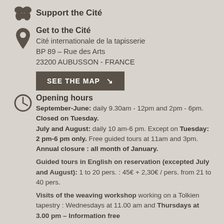Support the Cité
Get to the Cité
Cité internationale de la tapisserie
BP 89 – Rue des Arts
23200 AUBUSSON - FRANCE
SEE THE MAP ↘
Opening hours
September-June: daily 9.30am - 12pm and 2pm - 6pm. Closed on Tuesday.
July and August: daily 10 am-6 pm. Except on Tuesday: 2 pm-6 pm only. Free guided tours at 11am and 3pm.
Annual closure : all month of January.
Guided tours in English on reservation (excepted July and August): 1 to 20 pers. : 45€ + 2,30€ / pers. from 21 to 40 pers.
Visits of the weaving workshop working on a Tolkien tapestry : Wednesdays at 11.00 am and Thursdays at 3.00 pm – Information free